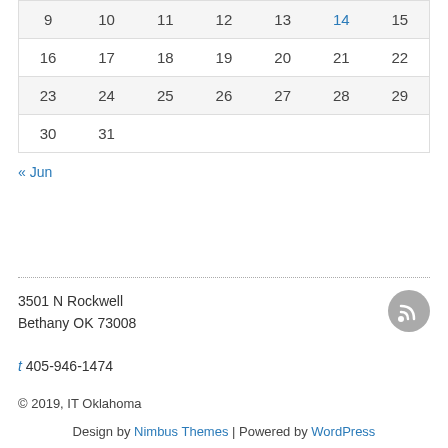| 9 | 10 | 11 | 12 | 13 | 14 | 15 |
| 16 | 17 | 18 | 19 | 20 | 21 | 22 |
| 23 | 24 | 25 | 26 | 27 | 28 | 29 |
| 30 | 31 |  |  |  |  |  |
« Jun
3501 N Rockwell
Bethany OK 73008
t 405-946-1474
© 2019, IT Oklahoma
Design by Nimbus Themes | Powered by WordPress